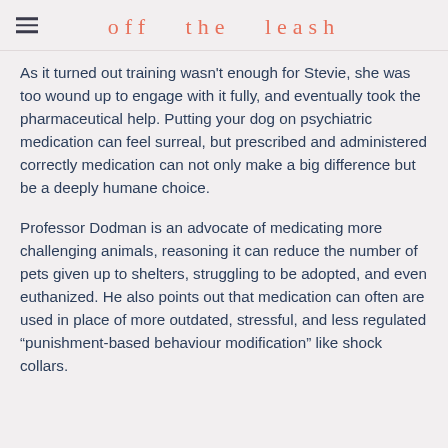off the leash
As it turned out training wasn't enough for Stevie, she was too wound up to engage with it fully, and eventually took the pharmaceutical help. Putting your dog on psychiatric medication can feel surreal, but prescribed and administered correctly medication can not only make a big difference but be a deeply humane choice.
Professor Dodman is an advocate of medicating more challenging animals, reasoning it can reduce the number of pets given up to shelters, struggling to be adopted, and even euthanized. He also points out that medication can often are used in place of more outdated, stressful, and less regulated “punishment-based behaviour modification” like shock collars.